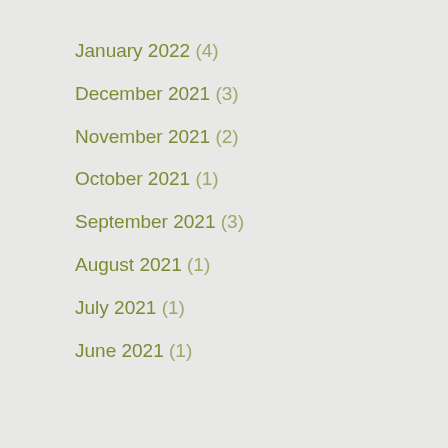January 2022 (4)
December 2021 (3)
November 2021 (2)
October 2021 (1)
September 2021 (3)
August 2021 (1)
July 2021 (1)
June 2021 (1)